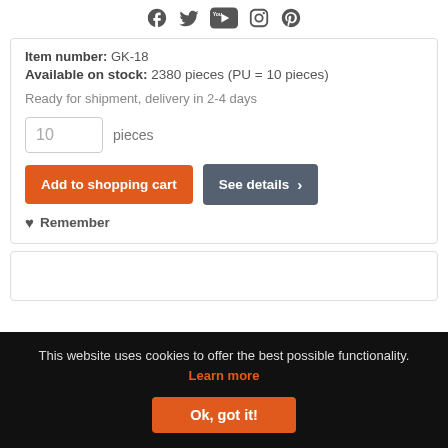[Figure (other): Social media icons: Facebook, Twitter, YouTube, Instagram, Pinterest]
Item number: GK-18
Available on stock: 2380 pieces (PU = 10 pieces)
Ready for shipment, delivery in 2-4 days
10  pieces
Add to shopping cart
See details >
♥ Remember
This website uses cookies to offer the best possible functionality. Learn more
Ok, got it!